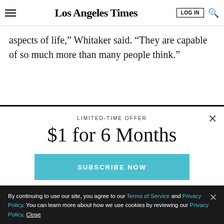Los Angeles Times
aspects of life," Whitaker said. "They are capable of so much more than many people think."
LIMITED-TIME OFFER
$1 for 6 Months
SUBSCRIBE NOW
By continuing to use our site, you agree to our Terms of Service and Privacy Policy. You can learn more about how we use cookies by reviewing our Privacy Policy. Close